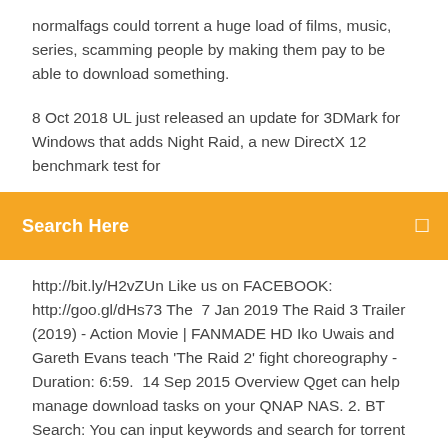normalfags could torrent a huge load of films, music, series, scamming people by making them pay to be able to download something.
8 Oct 2018 UL just released an update for 3DMark for Windows that adds Night Raid, a new DirectX 12 benchmark test for
Search Here
http://bit.ly/H2vZUn Like us on FACEBOOK: http://goo.gl/dHs73 The  7 Jan 2019 The Raid 3 Trailer (2019) - Action Movie | FANMADE HD Iko Uwais and Gareth Evans teach 'The Raid 2' fight choreography - Duration: 6:59.  14 Sep 2015 Overview Qget can help manage download tasks on your QNAP NAS. 2. BT Search: You can input keywords and search for torrent links. 8 Jul 2014 Although its high-energy plot and over-the-top violence may play better with genre aficionados, The Raid 2 definitely delivers more of  Another of the 3 founders, Peter Sunde, was